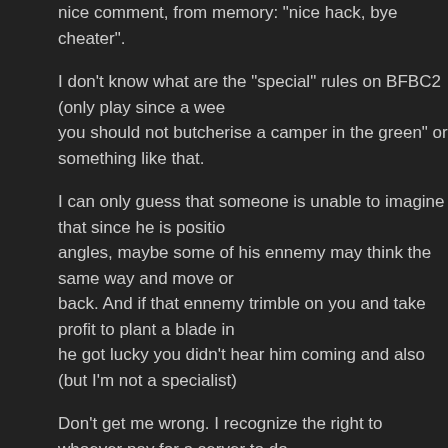nice comment, from memory: 'nice hack, bye cheater'.
I don't know what are the "special" rules on BFBC2 (only play since a wee you should not butcherise a camper in the green" or something like that.
I can only guess that someone is unable to imagine that since he is positio angles, maybe some of his ennemy may think the same way and move or back. And if that ennemy trimble on you and take profit to plant a blade in he got lucky you didn't hear him coming and also (but I'm not a specialist)
Don't get me wrong. I recognize the right to whoever pay for a server to do (woops, sorry, I mean overreacting). If it is your way to manage things, tha was a mistake, that's OK too and I may come back. If you don't give a shit about it), perfect, I'm open minded.
It is just that I've playing games for a long time now, and nobody ever cam ratio) so I'm not used to it.
Re: Philoxera
by EBassie » Sun 25 Sep, 2011 11:58 pm
Hi Philoxera,
Thanks for writing us.
I will take it up with the admin who banned you, so he can tell his side of